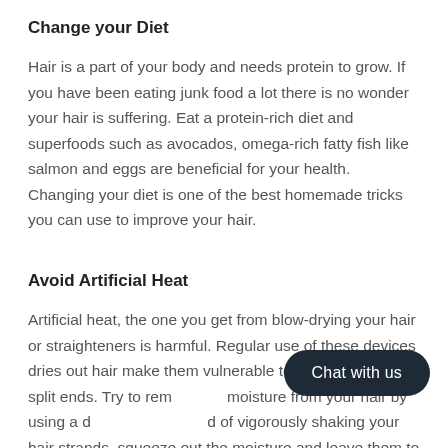Change your Diet
Hair is a part of your body and needs protein to grow. If you have been eating junk food a lot there is no wonder your hair is suffering. Eat a protein-rich diet and superfoods such as avocados, omega-rich fatty fish like salmon and eggs are beneficial for your health. Changing your diet is one of the best homemade tricks you can use to improve your hair.
Avoid Artificial Heat
Artificial heat, the one you get from blow-drying your hair or straighteners is harmful. Regular use of these devices dries out hair make them vulnerable to breakage and split ends. Try to rem moisture from your hair by using a d of vigorously shaking your hair strands, squeeze out the moisture and leave them to dry.